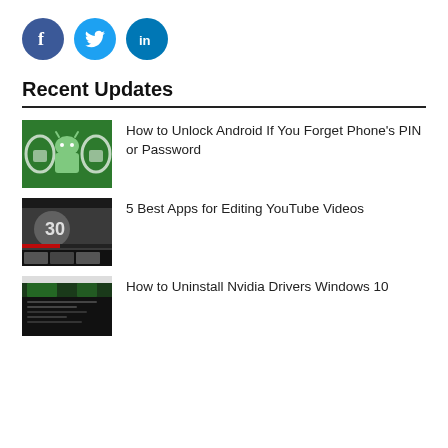[Figure (logo): Social media icons: Facebook (blue circle with f), Twitter (cyan circle with bird), LinkedIn (teal circle with in)]
Recent Updates
[Figure (photo): Green background with Android robot logo and lock icons on a phone screen]
How to Unlock Android If You Forget Phone's PIN or Password
[Figure (screenshot): Screenshot of a video editing app showing a motorcycle scene in YouTube video editor]
5 Best Apps for Editing YouTube Videos
[Figure (screenshot): Dark screenshot of Nvidia driver uninstall tool/console window]
How to Uninstall Nvidia Drivers Windows 10